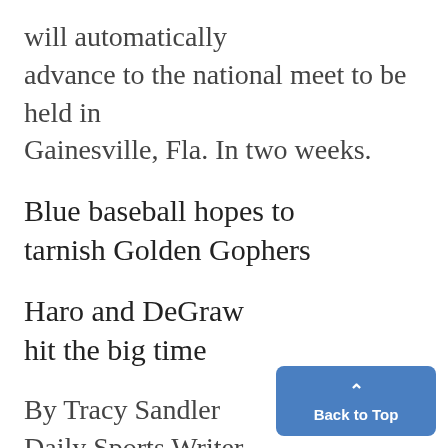will automatically advance to the national meet to be held in Gainesville, Fla. In two weeks.
Blue baseball hopes to tarnish Golden Gophers
Haro and DeGraw hit the big time
By Tracy Sandler
Daily Sports Writer
It's No. 1 against No. 2 kind of.
This weekend the Michigan baseball team